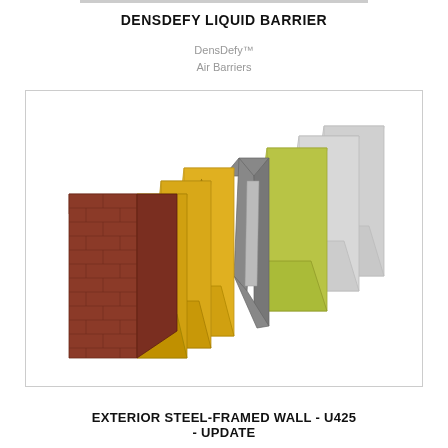DENSDEFY LIQUID BARRIER
DensDefy™
Air Barriers
[Figure (engineering-diagram): Exploded isometric view of an exterior steel-framed wall assembly showing layered building components: brick/masonry cladding, yellow liquid barrier panels with branding logos, grey steel frame, yellow-green insulation board, and two light grey sheathing/glazing panels stacked from front to back.]
EXTERIOR STEEL-FRAMED WALL - U425 - UPDATE